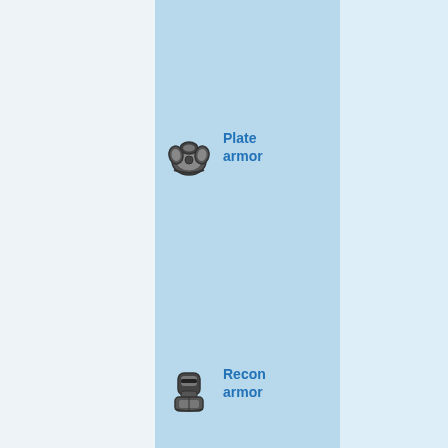| Item | Col1 | Col2 | Col3 |
| --- | --- | --- | --- |
| Plate armor | ×73% | ×73% | ×73% |
| Recon armor | 92% | 40% | 46% |